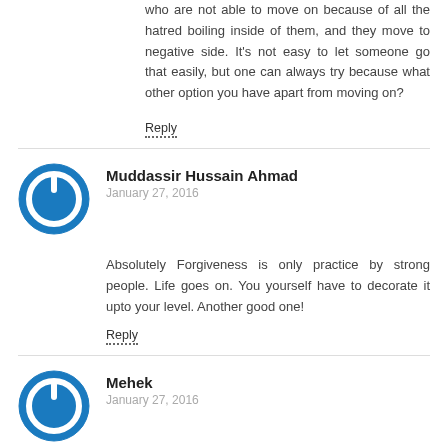who are not able to move on because of all the hatred boiling inside of them, and they move to negative side. It's not easy to let someone go that easily, but one can always try because what other option you have apart from moving on?
Reply
Muddassir Hussain Ahmad
January 27, 2016
Absolutely Forgiveness is only practice by strong people. Life goes on. You yourself have to decorate it upto your level. Another good one!
Reply
[Figure (illustration): Blue circular power/user avatar icon with white power button symbol]
Mehek
January 27, 2016